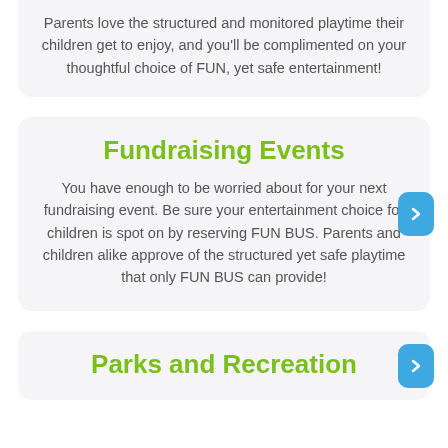Parents love the structured and monitored playtime their children get to enjoy, and you'll be complimented on your thoughtful choice of FUN, yet safe entertainment!
Fundraising Events
You have enough to be worried about for your next fundraising event. Be sure your entertainment choice for children is spot on by reserving FUN BUS. Parents and children alike approve of the structured yet safe playtime that only FUN BUS can provide!
Parks and Recreation